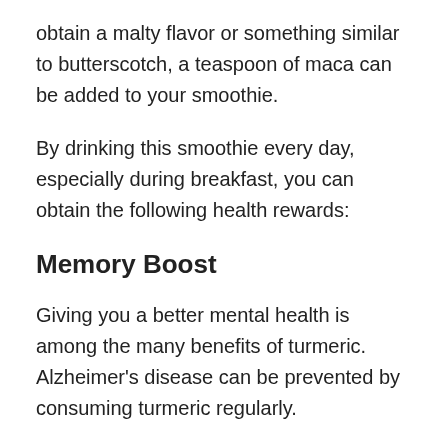obtain a malty flavor or something similar to butterscotch, a teaspoon of maca can be added to your smoothie.
By drinking this smoothie every day, especially during breakfast, you can obtain the following health rewards:
Memory Boost
Giving you a better mental health is among the many benefits of turmeric. Alzheimer’s disease can be prevented by consuming turmeric regularly.